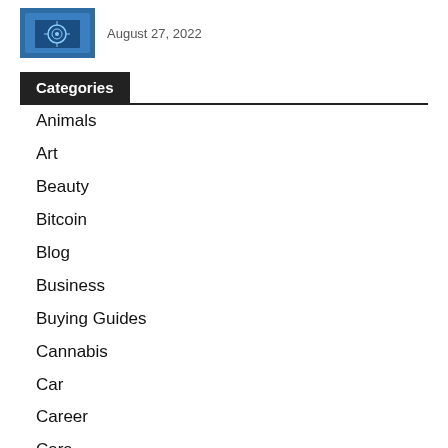[Figure (photo): Blue technology-themed thumbnail image showing a laptop/computer screen with digital icons]
August 27, 2022
Categories
Animals
Art
Beauty
Bitcoin
Blog
Business
Buying Guides
Cannabis
Car
Career
Cars